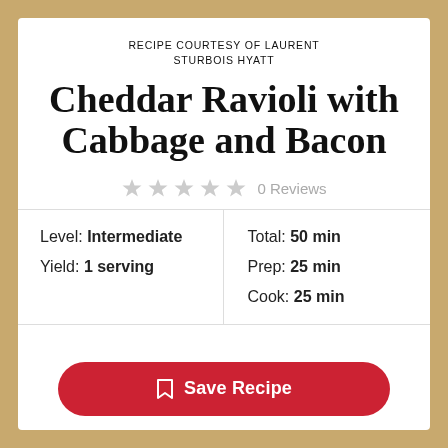RECIPE COURTESY OF LAURENT STURBOIS HYATT
Cheddar Ravioli with Cabbage and Bacon
0 Reviews
| Level: Intermediate | Total: 50 min |
| Yield: 1 serving | Prep: 25 min |
|  | Cook: 25 min |
Save Recipe